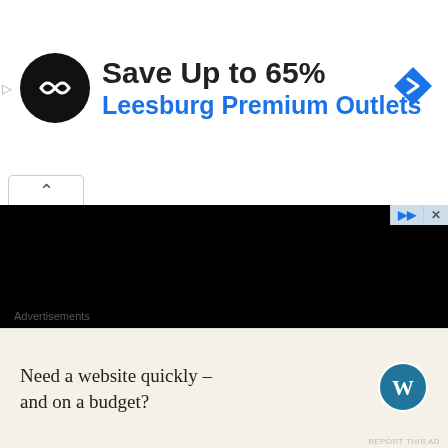[Figure (screenshot): Advertisement banner: black circular logo with infinity-like arrows icon, text 'Save Up to 65%' in bold dark and 'Leesburg Premium Outlets' in blue, blue diamond navigation icon on right]
[Figure (screenshot): Video player area showing a black rectangle (video content area) with a collapse/up chevron tab and play/skip controls]
$69.99
$220.00
[Figure (screenshot): Close/dismiss button (circled X) on the right side]
Advertisements
[Figure (screenshot): WordPress advertisement: beige/tan background with text 'Need a website quickly – and on a budget?' and WordPress circular logo icon]